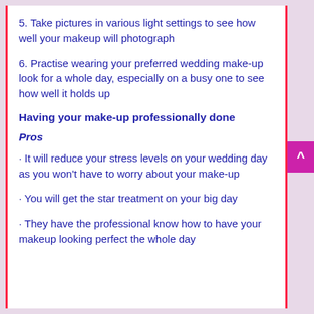5. Take pictures in various light settings to see how well your makeup will photograph
6. Practise wearing your preferred wedding make-up look for a whole day, especially on a busy one to see how well it holds up
Having your make-up professionally done
Pros
· It will reduce your stress levels on your wedding day as you won't have to worry about your make-up
· You will get the star treatment on your big day
· They have the professional know how to have your makeup looking perfect the whole day